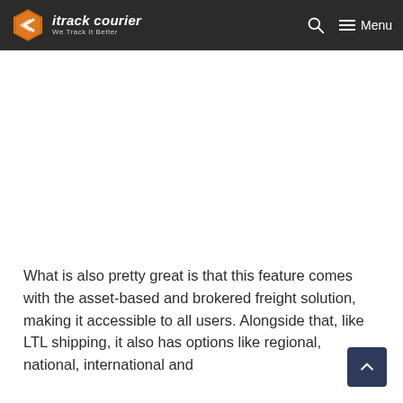[Figure (logo): itrack courier logo with orange hexagonal icon and white italic text reading 'itrack courier' with tagline 'We Track It Better', on dark background nav bar with search icon and hamburger menu]
[Figure (other): White/blank advertisement or content area]
What is also pretty great is that this feature comes with the asset-based and brokered freight solution, making it accessible to all users. Alongside that, like LTL shipping, it also has options like regional, national, international and